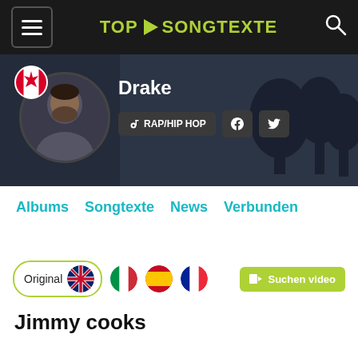TOP SONGTEXTE
[Figure (photo): Drake artist profile banner with dark background, Canadian flag icon, circular artist photo, name Drake, genre RAP/HIP HOP, Facebook and Twitter social icons]
Albums  Songtexte  News  Verbunden
Original [UK flag] [Italian flag] [Spanish flag] [French flag]  Suchen video
Jimmy cooks